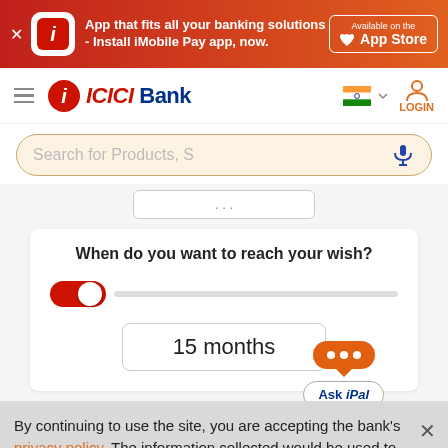[Figure (screenshot): ICICI Bank iMobile Pay app promotional banner with red-orange gradient background, app icon, text, and App Store button]
[Figure (screenshot): ICICI Bank website navigation bar with hamburger menu, ICICI Bank logo, Indian flag language selector, and LOGIN button]
[Figure (screenshot): Search bar with placeholder text 'Search for Products, S' and microphone icon on cream background]
When do you want to reach your wish?
[Figure (screenshot): Toggle slider control showing red track with white knob, and Ask iPal chat bubble button with orange speech bubble]
15 months
By continuing to use the site, you are accepting the bank's privacy policy. The information collected would be used to improve your web journey & to personalize your website experience.